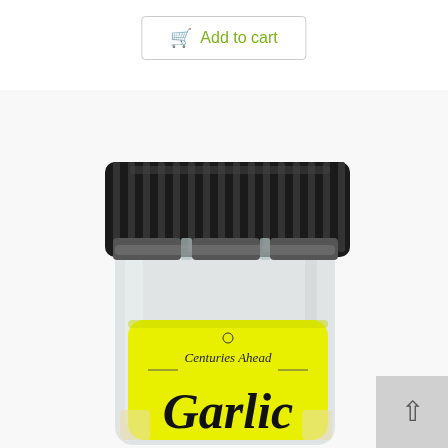Add to cart
[Figure (photo): A glass spice jar with a black ribbed lid and a bright yellow label reading 'Centuries Ahead Garlic'. The jar contains white/pale yellow garlic powder. The image is cropped showing the top portion of the jar prominently.]